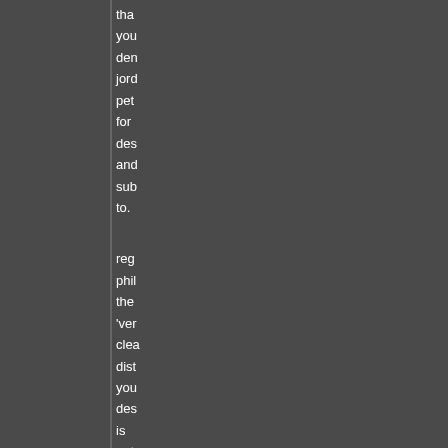tha you den jord pet for des and sub to. reg phi the 'ver clea dist you des is not so clea whe scri or with any cur res